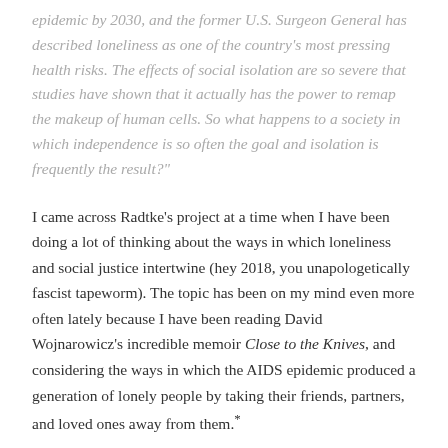epidemic by 2030, and the former U.S. Surgeon General has described loneliness as one of the country's most pressing health risks. The effects of social isolation are so severe that studies have shown that it actually has the power to remap the makeup of human cells. So what happens to a society in which independence is so often the goal and isolation is frequently the result?"
I came across Radtke's project at a time when I have been doing a lot of thinking about the ways in which loneliness and social justice intertwine (hey 2018, you unapologetically fascist tapeworm). The topic has been on my mind even more often lately because I have been reading David Wojnarowicz's incredible memoir Close to the Knives, and considering the ways in which the AIDS epidemic produced a generation of lonely people by taking their friends, partners, and loved ones away from them.*